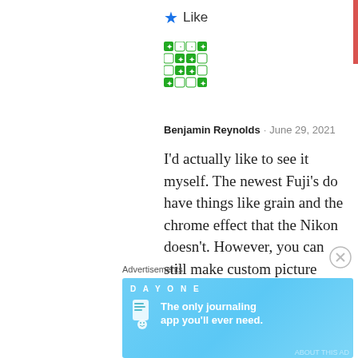★ Like
[Figure (other): Green pixel/mosaic avatar icon for user Benjamin Reynolds]
Benjamin Reynolds · June 29, 2021
I'd actually like to see it myself. The newest Fuji's do have things like grain and the chrome effect that the Nikon doesn't. However, you can still make custom picture controls on Nikon. So should be able to tweak it quite a ways.

Even the default picture controls on Nikon I think look pretty good though.
Advertisements
[Figure (screenshot): Day One journaling app advertisement banner: 'The only journaling app you'll ever need.']